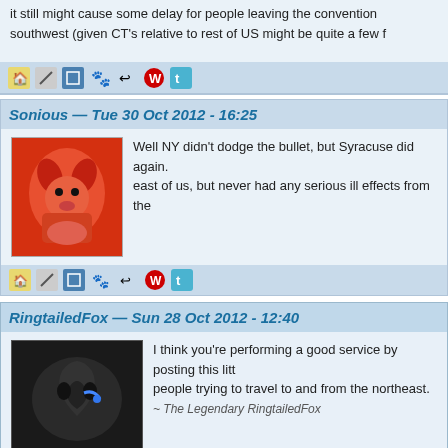it still might cause some delay for people leaving the convention southwest (given CT's relative to rest of US might be quite a few f...
Sonious — Tue 30 Oct 2012 - 16:25
Well NY didn't dodge the bullet, but Syracuse did again. east of us, but never had any serious ill effects from the...
RingtailedFox — Sun 28 Oct 2012 - 12:40
I think you're performing a good service by posting this litt... people trying to travel to and from the northeast.
~ The Legendary RingtailedFox
ubbirdboy (visitor) — Sun 28 Oct 2012 - 13:50
I think the writer of this article should do a little more research. I live will be coming off of the Atlantic into the north east. The Midwest sto... off of the Atlantic. Research before you write. Thank you.